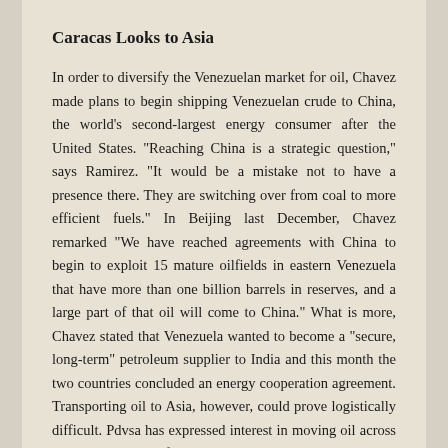Caracas Looks to Asia
In order to diversify the Venezuelan market for oil, Chavez made plans to begin shipping Venezuelan crude to China, the world's second-largest energy consumer after the United States. "Reaching China is a strategic question," says Ramirez. "It would be a mistake not to have a presence there. They are switching over from coal to more efficient fuels." In Beijing last December, Chavez remarked "We have reached agreements with China to begin to exploit 15 mature oilfields in eastern Venezuela that have more than one billion barrels in reserves, and a large part of that oil will come to China." What is more, Chavez stated that Venezuela wanted to become a "secure, long-term" petroleum supplier to India and this month the two countries concluded an energy cooperation agreement. Transporting oil to Asia, however, could prove logistically difficult. Pdvsa has expressed interest in moving oil across Panama to the Pacific Ocean via pipeline. The company is also exploring the idea of building such a facility across Venezuela's northern border with Colombia, extending to that country's Pacific coast. Shipping oil to Asia carries other logistical and infrastructural problems. China presently has an insufficient deep conversion refining capacity and transporting petroleum to the Asian giant would be costly due to the long distances involved. Moreover, the Panama pipeline eyed by Chavez already transports